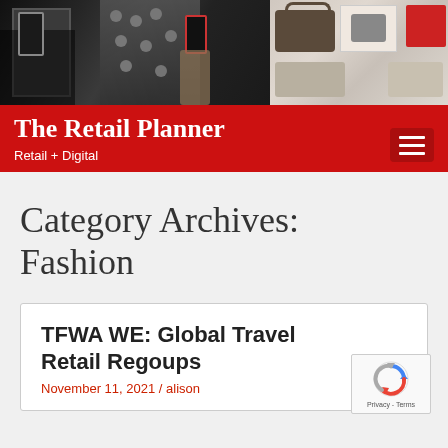[Figure (photo): Website header photo showing a fashion retail store interior with people using smartphones to photograph items, and a display of luxury handbags and accessories on the right side]
The Retail Planner
Retail + Digital
Category Archives: Fashion
TFWA WE: Global Travel Retail Regoups
November 11, 2021 / alison